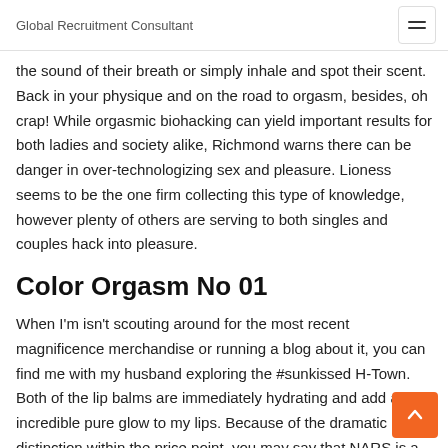Global Recruitment Consultant
the sound of their breath or simply inhale and spot their scent. Back in your physique and on the road to orgasm, besides, oh crap! While orgasmic biohacking can yield important results for both ladies and society alike, Richmond warns there can be danger in over-technologizing sex and pleasure. Lioness seems to be the one firm collecting this type of knowledge, however plenty of others are serving to both singles and couples hack into pleasure.
Color Orgasm No 01
When I'm isn't scouting around for the most recent magnificence merchandise or running a blog about it, you can find me with my husband exploring the #sunkissed H-Town. Both of the lip balms are immediately hydrating and add an incredible pure glow to my lips. Because of the dramatic distinction within the price point, you may say that NARS is a more sensible choice since you get just about the identical outcome for a much better value. However, since Tom Ford